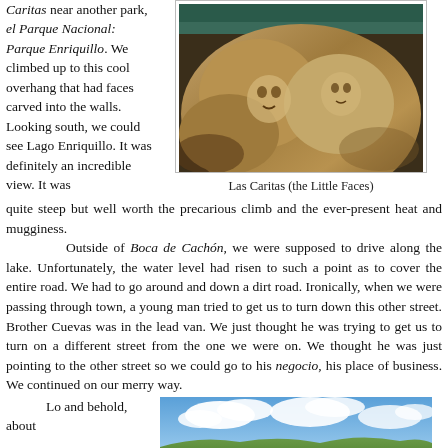Caritas near another park, el Parque Nacional: Parque Enriquillo. We climbed up to this cool overhang that had faces carved into the walls. Looking south, we could see Lago Enriquillo. It was definitely an incredible view. It was quite steep but well worth the precarious climb and the ever-present heat and mugginess.
[Figure (photo): Close-up photograph of rock carvings showing faces etched into stone at Las Caritas]
Las Caritas (the Little Faces)
Outside of Boca de Cachón, we were supposed to drive along the lake. Unfortunately, the water level had risen to such a point as to cover the entire road. We had to go around and down a dirt road. Ironically, when we were passing through town, a young man tried to get us to turn down this other street. Brother Cuevas was in the lead van. We just thought he was trying to get us to turn on a different street from the one we were on. We thought he was just pointing to the other street so we could go to his negocio, his place of business. We continued on our merry way.
Lo and behold, about
[Figure (photo): Landscape photograph showing blue sky with clouds over green hills and terrain]